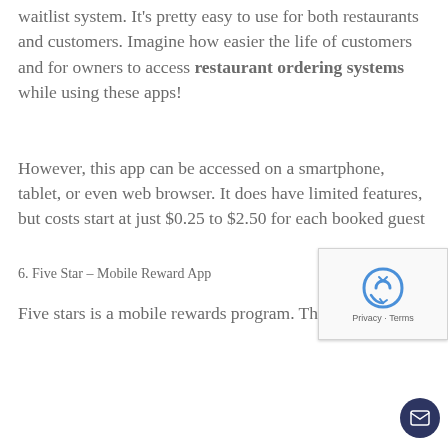waitlist system. It's pretty easy to use for both restaurants and customers. Imagine how easier the life of customers and for owners to access restaurant ordering systems while using these apps!
However, this app can be accessed on a smartphone, tablet, or even web browser. It does have limited features, but costs start at just $0.25 to $2.50 for each booked guest
6. Five Star – Mobile Reward App
Five stars is a mobile rewards program. The